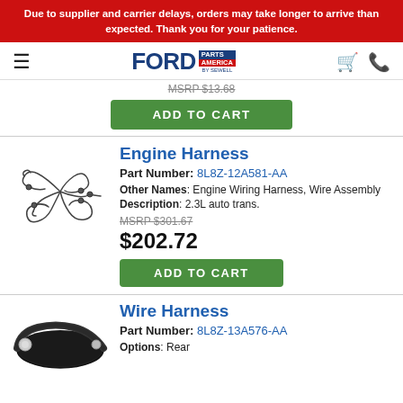Due to supplier and carrier delays, orders may take longer to arrive than expected. Thank you for your patience.
[Figure (logo): Ford Parts America by Sewell logo with navigation icons]
MSRP $13.68
ADD TO CART
Engine Harness
Part Number: 8L8Z-12A581-AA
Other Names: Engine Wiring Harness, Wire Assembly
Description: 2.3L auto trans.
MSRP $301.67
$202.72
ADD TO CART
[Figure (photo): Engine wiring harness part photo]
Wire Harness
Part Number: 8L8Z-13A576-AA
Options: Rear
[Figure (photo): Wire harness part photo]